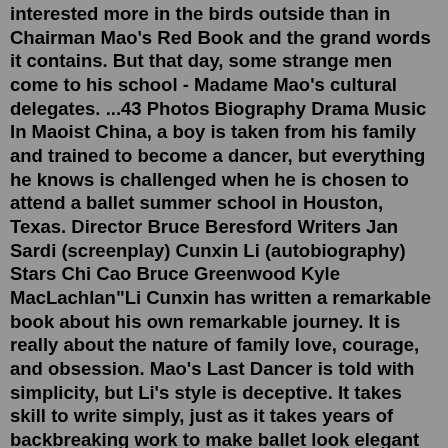interested more in the birds outside than in Chairman Mao's Red Book and the grand words it contains. But that day, some strange men come to his school - Madame Mao's cultural delegates. ...43 Photos Biography Drama Music In Maoist China, a boy is taken from his family and trained to become a dancer, but everything he knows is challenged when he is chosen to attend a ballet summer school in Houston, Texas. Director Bruce Beresford Writers Jan Sardi (screenplay) Cunxin Li (autobiography) Stars Chi Cao Bruce Greenwood Kyle MacLachlan"Li Cunxin has written a remarkable book about his own remarkable journey. It is really about the nature of family love, courage, and obsession. Mao's Last Dancer is told with simplicity, but Li's style is deceptive. It takes skill to write simply, just as it takes years of backbreaking work to make ballet look elegant and effortless."Li's autobiography, Mao's Last Dancer, has received numerous accolades including the Australian Book of the Year Award and